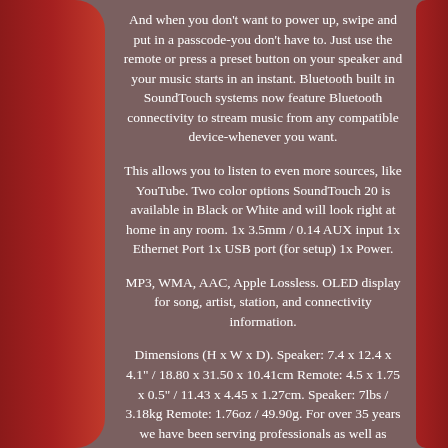And when you don't want to power up, swipe and put in a passcode-you don't have to. Just use the remote or press a preset button on your speaker and your music starts in an instant. Bluetooth built in SoundTouch systems now feature Bluetooth connectivity to stream music from any compatible device-whenever you want.
This allows you to listen to even more sources, like YouTube. Two color options SoundTouch 20 is available in Black or White and will look right at home in any room. 1x 3.5mm / 0.14 AUX input 1x Ethernet Port 1x USB port (for setup) 1x Power.
MP3, WMA, AAC, Apple Lossless. OLED display for song, artist, station, and connectivity information.
Dimensions (H x W x D). Speaker: 7.4 x 12.4 x 4.1" / 18.80 x 31.50 x 10.41cm Remote: 4.5 x 1.75 x 0.5" / 11.43 x 4.45 x 1.27cm. Speaker: 7lbs / 3.18kg Remote: 1.76oz / 49.90g. For over 35 years we have been serving professionals as well as amateurs in